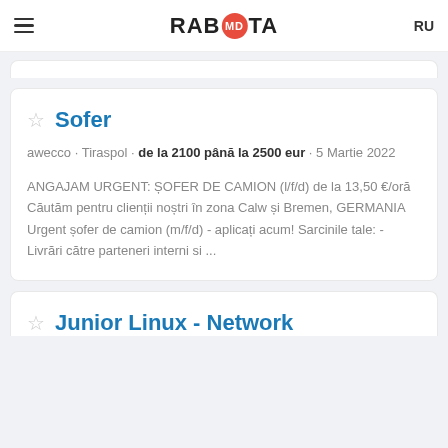RABOTA MD RU
Sofer
awecco • Tiraspol • de la 2100 până la 2500 eur • 5 Martie 2022
ANGAJAM URGENT: ȘOFER DE CAMION (l/f/d) de la 13,50 €/oră Căutăm pentru clienții noștri în zona Calw și Bremen, GERMANIA Urgent șofer de camion (m/f/d) - aplicați acum! Sarcinile tale: - Livrări către parteneri interni si ...
Junior Linux - Network